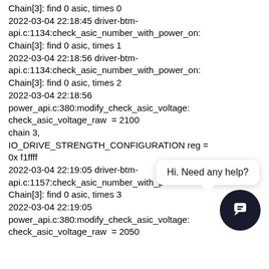Chain[3]: find 0 asic, times 0
2022-03-04 22:18:45 driver-btm-api.c:1134:check_asic_number_with_power_on: Chain[3]: find 0 asic, times 1
2022-03-04 22:18:56 driver-btm-api.c:1134:check_asic_number_with_power_on: Chain[3]: find 0 asic, times 2
2022-03-04 22:18:56 power_api.c:380:modify_check_asic_voltage: check_asic_voltage_raw  = 2100
chain 3, IO_DRIVE_STRENGTH_CONFIGURATION reg = 0x f1ffff
2022-03-04 22:19:05 driver-btm-api.c:1157:check_asic_number_with_p Chain[3]: find 0 asic, times 3
2022-03-04 22:19:05 power_api.c:380:modify_check_asic_voltage: check_asic_voltage_raw  = 2050
[Figure (other): Chat support widget with tooltip bubble saying 'Hi. Need any help?' and a dark circular button with a chat/power icon at bottom right of screen.]